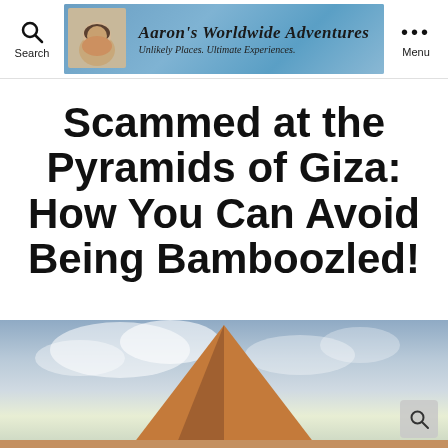Aaron's Worldwide Adventures — Unlikely Places. Ultimate Experiences. | Search | Menu
Scammed at the Pyramids of Giza: How You Can Avoid Being Bamboozled!
By Aaron   46 Comments
[Figure (photo): Photograph of a pyramid (likely Giza) with a dramatic cloudy sky in the background. The pyramid appears in reddish-brown stone in the lower center of the image.]